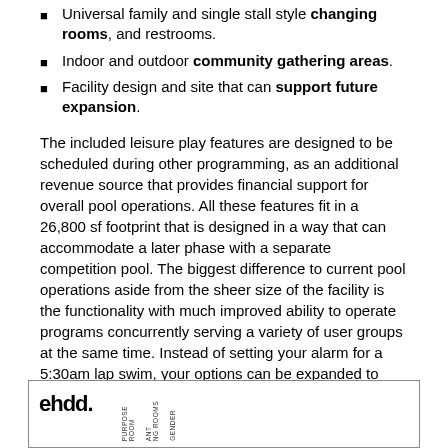Universal family and single stall style changing rooms, and restrooms.
Indoor and outdoor community gathering areas.
Facility design and site that can support future expansion.
The included leisure play features are designed to be scheduled during other programming, as an additional revenue source that provides financial support for overall pool operations. All these features fit in a 26,800 sf footprint that is designed in a way that can accommodate a later phase with a separate competition pool. The biggest difference to current pool operations aside from the sheer size of the facility is the functionality with much improved ability to operate programs concurrently serving a variety of user groups at the same time. Instead of setting your alarm for a 5:30am lap swim, your options can be expanded to more popular hours of the day. Similarly, rather than waiting for the once-a-week family swim time, the leisure pool can accommodate that any day of the week.
[Figure (other): ehdd logo with vertical text labels indicating room types including changing rooms and gender]